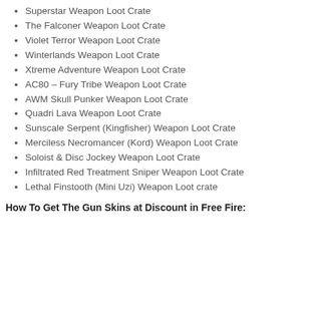Superstar Weapon Loot Crate
The Falconer Weapon Loot Crate
Violet Terror Weapon Loot Crate
Winterlands Weapon Loot Crate
Xtreme Adventure Weapon Loot Crate
AC80 – Fury Tribe Weapon Loot Crate
AWM Skull Punker Weapon Loot Crate
Quadri Lava Weapon Loot Crate
Sunscale Serpent (Kingfisher) Weapon Loot Crate
Merciless Necromancer (Kord) Weapon Loot Crate
Soloist & Disc Jockey Weapon Loot Crate
Infiltrated Red Treatment Sniper Weapon Loot Crate
Lethal Finstooth (Mini Uzi) Weapon Loot crate
How To Get The Gun Skins at Discount in Free Fire: